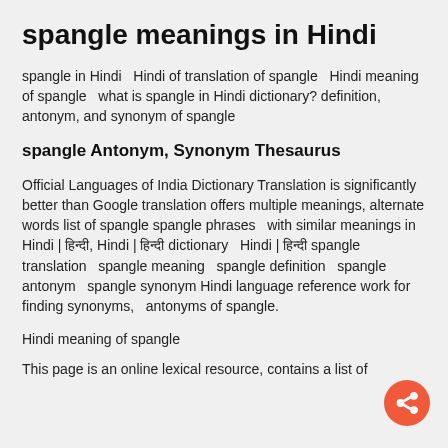spangle meanings in Hindi
spangle in Hindi   Hindi of translation of spangle   Hindi meaning of spangle   what is spangle in Hindi dictionary? definition, antonym, and synonym of spangle
spangle Antonym, Synonym Thesaurus
Official Languages of India Dictionary Translation is significantly better than Google translation offers multiple meanings, alternate words list of spangle spangle phrases   with similar meanings in Hindi | हिन्दी, Hindi | हिन्दी dictionary   Hindi | हिन्दी spangle translation   spangle meaning   spangle definition   spangle antonym   spangle synonym Hindi language reference work for finding synonyms,  antonyms of spangle.
Hindi meaning of spangle
This page is an online lexical resource, contains a list of